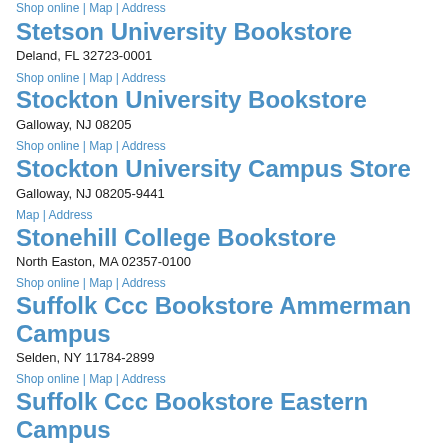Shop online | Map | Address
Stetson University Bookstore
Deland, FL 32723-0001
Shop online | Map | Address
Stockton University Bookstore
Galloway, NJ 08205
Shop online | Map | Address
Stockton University Campus Store
Galloway, NJ 08205-9441
Map | Address
Stonehill College Bookstore
North Easton, MA 02357-0100
Shop online | Map | Address
Suffolk Ccc Bookstore Ammerman Campus
Selden, NY 11784-2899
Shop online | Map | Address
Suffolk Ccc Bookstore Eastern Campus
Riverhead, NY 11901-3499
Shop online | Map | Address